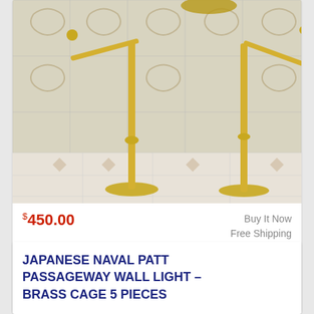[Figure (photo): Two tall brass candlestick-style stands with decorative bases photographed against ornate white and gold patterned tiles on wall and floor]
$450.00
Buy It Now
Free Shipping
Location: Wadala Truck Terminal S.O, India
We believe that all disputes can be settled by proper communication.
JAPANESE NAVAL PATT PASSAGEWAY WALL LIGHT – BRASS CAGE 5 PIECES